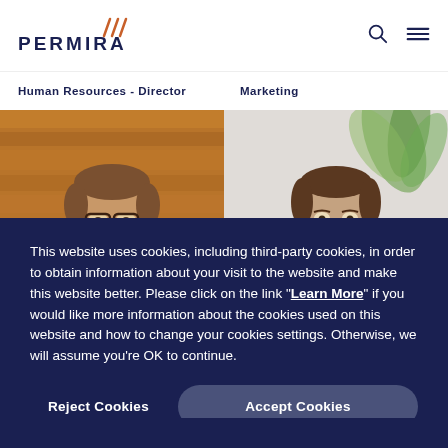[Figure (logo): Permira logo with orange slash marks above text]
Human Resources - Director
Marketing
[Figure (photo): Man with glasses in front of wooden background]
[Figure (photo): Man in front of plant/white background]
This website uses cookies, including third-party cookies, in order to obtain information about your visit to the website and make this website better. Please click on the link "Learn More" if you would like more information about the cookies used on this website and how to change your cookies settings. Otherwise, we will assume you're OK to continue.
Reject Cookies
Accept Cookies